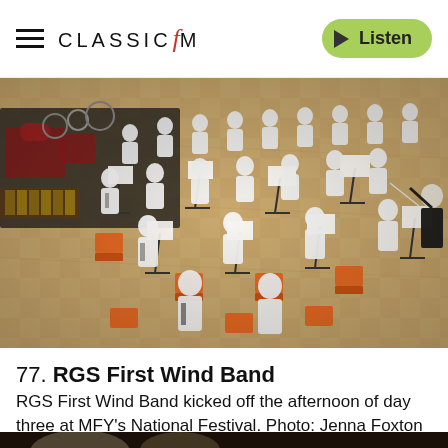CLASSIC FM — Listen
[Figure (photo): Aerial view of RGS First Wind Band performing on a wooden stage floor, musicians in white shirts seated on orange chairs with music stands, conductor at right, percussion and brass instruments visible]
77. RGS First Wind Band
RGS First Wind Band kicked off the afternoon of day three at MFY's National Festival. Photo: Jenna Foxton
[Figure (photo): Partial view of another performance, dark background, partially visible at bottom of page]